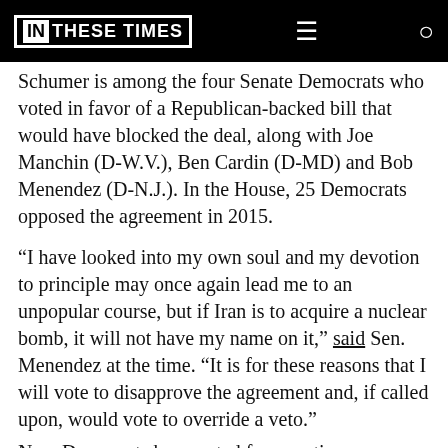IN THESE TIMES
Schumer is among the four Senate Democrats who voted in favor of a Republican-backed bill that would have blocked the deal, along with Joe Manchin (D-W.V.), Ben Cardin (D-MD) and Bob Menendez (D-N.J.). In the House, 25 Democrats opposed the agreement in 2015.
“I have looked into my own soul and my devotion to principle may once again lead me to an unpopular course, but if Iran is to acquire a nuclear bomb, it will not have my name on it,” said Sen. Menendez at the time. “It is for these reasons that I will vote to disapprove the agreement and, if called upon, would vote to override a veto.”
Now Democrats have voted for a motion...